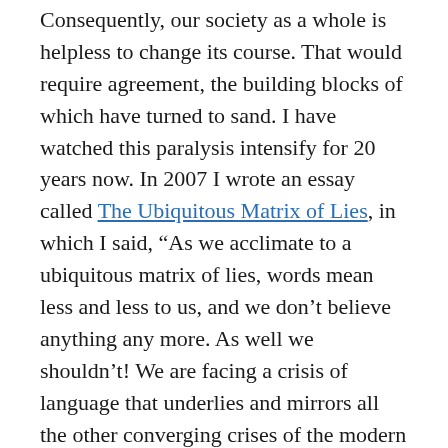Consequently, our society as a whole is helpless to change its course. That would require agreement, the building blocks of which have turned to sand. I have watched this paralysis intensify for 20 years now. In 2007 I wrote an essay called The Ubiquitous Matrix of Lies, in which I said, “As we acclimate to a ubiquitous matrix of lies, words mean less and less to us, and we don’t believe anything any more. As well we shouldn’t! We are facing a crisis of language that underlies and mirrors all the other converging crises of the modern age.”
Our main engines of knowledge production – science, journalism, and